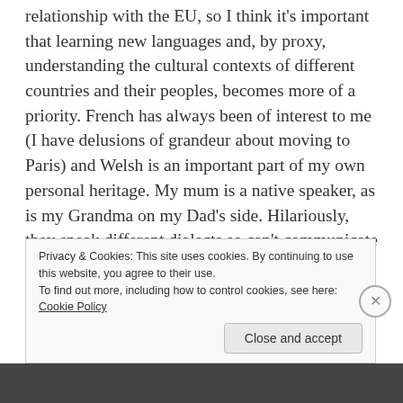relationship with the EU, so I think it's important that learning new languages and, by proxy, understanding the cultural contexts of different countries and their peoples, becomes more of a priority. French has always been of interest to me (I have delusions of grandeur about moving to Paris) and Welsh is an important part of my own personal heritage. My mum is a native speaker, as is my Grandma on my Dad's side. Hilariously, they speak different dialects so can't communicate with one another. Nevertheless, learning Welsh has been an absolute joy. I can just about tell people that I am a
Privacy & Cookies: This site uses cookies. By continuing to use this website, you agree to their use.
To find out more, including how to control cookies, see here: Cookie Policy
Close and accept